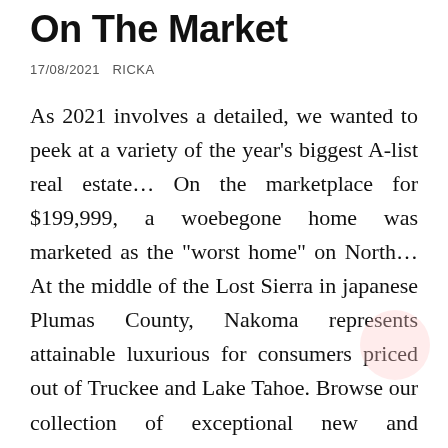On The Market
17/08/2021   RICKA
As 2021 involves a detailed, we wanted to peek at a variety of the year’s biggest A-list real estate… On the marketplace for $199,999, a woebegone home was marketed as the “worst home” on North… At the middle of the Lost Sierra in japanese Plumas County, Nakoma represents attainable luxurious for consumers priced out of Truckee and Lake Tahoe. Browse our collection of exceptional new and upcoming residential developments.
Currently we are experiencing very excessive